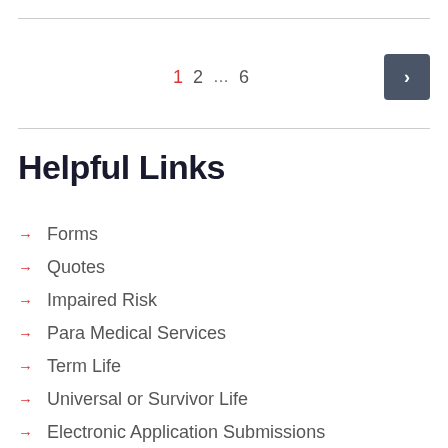1  2  ...  6  >
Helpful Links
Forms
Quotes
Impaired Risk
Para Medical Services
Term Life
Universal or Survivor Life
Electronic Application Submissions
Producer Tool Box